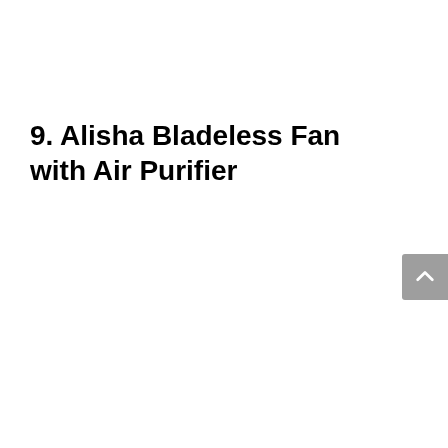9. Alisha Bladeless Fan with Air Purifier